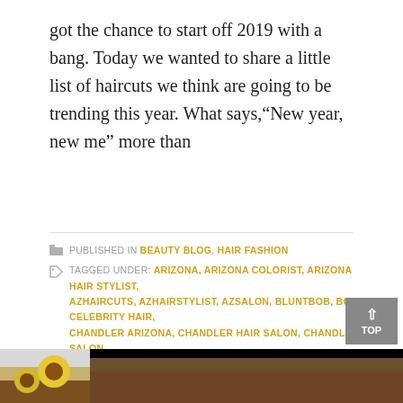got the chance to start off 2019 with a bang. Today we wanted to share a little list of haircuts we think are going to be trending this year. What says,“New year, new me” more than
PUBLISHED IN BEAUTY BLOG, HAIR FASHION
TAGGED UNDER: ARIZONA, ARIZONA COLORIST, ARIZONA HAIR STYLIST, AZHAIRCUTS, AZHAIRSTYLIST, AZSALON, BLUNTBOB, BOB, CELEBRITY HAIR, CHANDLER ARIZONA, CHANDLER HAIR SALON, CHANDLER SALON, CHANDLERAZ, CHANDLERHAIRSALON, CHANDLERHAIRSTYLIST, CHANDLERSALON, COLORIST, FANTASYCOLORAZ, FINE HAIR, HAIRCARE, HAIRCOLOR, HAIRCUT, HAIRFASHION, HAIRGROWTH, HAIRSALONAZ, HAIRSALONINCHANDLER, HAIRTIPS, TRENDY, TRENDY HAIR COLORS, WINTERHAIR, WINTERHAIRFASHION
[Figure (photo): Bottom portion showing sunflowers and woman's hair in warm tones]